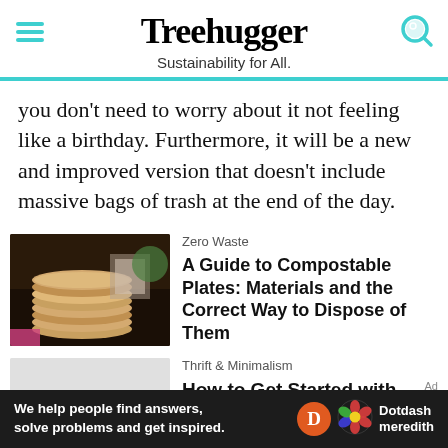Treehugger — Sustainability for All.
you don't need to worry about it not feeling like a birthday. Furthermore, it will be a new and improved version that doesn't include massive bags of trash at the end of the day.
[Figure (photo): Stack of round wooden/compostable plates on a dark table with flowers in background]
Zero Waste — A Guide to Compostable Plates: Materials and the Correct Way to Dispose of Them
[Figure (photo): Partially visible image, light grey/white background]
Thrift & Minimalism — How to Get Started with Zero
We help people find answers, solve problems and get inspired. Dotdash meredith